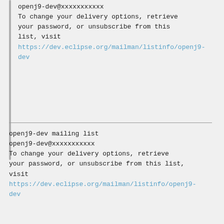openj9-dev@xxxxxxxxxxx
To change your delivery options, retrieve your password, or unsubscribe from this list, visit https://dev.eclipse.org/mailman/listinfo/openj9-dev
openj9-dev mailing list
openj9-dev@xxxxxxxxxxx
To change your delivery options, retrieve your password, or unsubscribe from this list, visit https://dev.eclipse.org/mailman/listinfo/openj9-dev